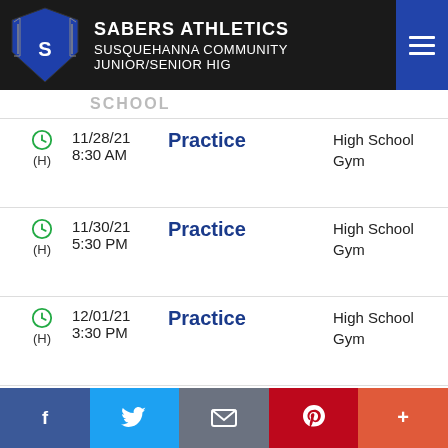SABERS ATHLETICS SUSQUEHANNA COMMUNITY JUNIOR/SENIOR HIGH SCHOOL
11/28/21 8:30 AM (H) Practice High School Gym
11/30/21 5:30 PM (H) Practice High School Gym
12/01/21 3:30 PM (H) Practice High School Gym
12/02/21 5:30 PM (H) Practice High School Gym
12/03/21 6:00 PM (A) vs Northwest Area HS
Facebook Twitter Email Pinterest More